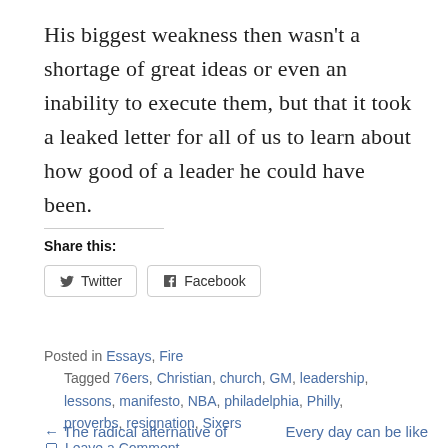His biggest weakness then wasn't a shortage of great ideas or even an inability to execute them, but that it took a leaked letter for all of us to learn about how good of a leader he could have been.
Share this:
[Figure (other): Twitter and Facebook share buttons]
Posted in Essays, Fire
Tagged 76ers, Christian, church, GM, leadership, lessons, manifesto, NBA, philadelphia, Philly, proverbs, resignation, Sixers
Leave a Comment
← The radical alternative of    Every day can be like